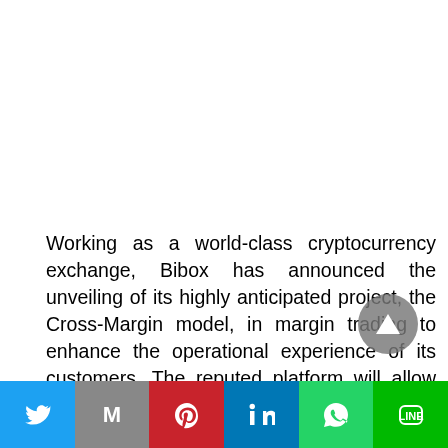Working as a world-class cryptocurrency exchange, Bibox has announced the unveiling of its highly anticipated project, the Cross-Margin model, in margin trading to enhance the operational experience of its customers. The reputed platform will allow the users to make a
[Figure (other): Social media share bar with buttons for Twitter, Gmail, Pinterest, LinkedIn, WhatsApp, and LINE]